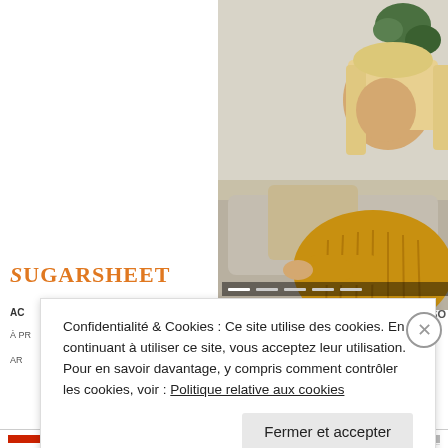[Figure (photo): Woman with blonde hair wearing a yellow/mustard knit sweater, sitting on a sofa, viewed from the right side of the page]
Sugarsheet
AC
À PR
AR
SO
Confidentialité & Cookies : Ce site utilise des cookies. En continuant à utiliser ce site, vous acceptez leur utilisation. Pour en savoir davantage, y compris comment contrôler les cookies, voir : Politique relative aux cookies
Fermer et accepter